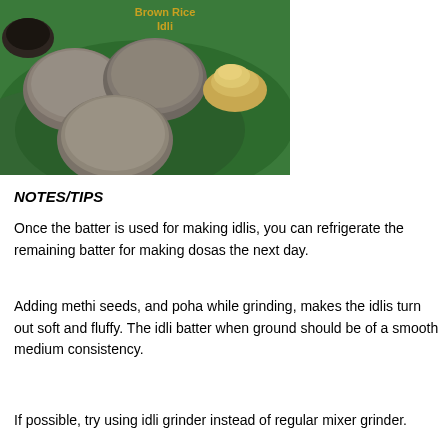[Figure (photo): Photo of brown rice idlis on a green banana leaf plate with a small pile of yellow powder (podi/chutney powder) in the background. Text 'Brown Rice Idli' appears in yellow at the top of the image.]
NOTES/TIPS
Once the batter is used for making idlis, you can refrigerate the remaining batter for making dosas the next day.
Adding methi seeds, and poha while grinding, makes the idlis turn out soft and fluffy. The idli batter when ground should be of a smooth medium consistency.
If possible, try using idli grinder instead of regular mixer grinder.